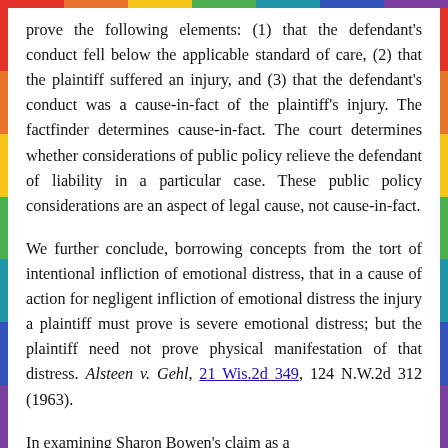prove the following elements: (1) that the defendant's conduct fell below the applicable standard of care, (2) that the plaintiff suffered an injury, and (3) that the defendant's conduct was a cause-in-fact of the plaintiff's injury. The factfinder determines cause-in-fact. The court determines whether considerations of public policy relieve the defendant of liability in a particular case. These public policy considerations are an aspect of legal cause, not cause-in-fact.
We further conclude, borrowing concepts from the tort of intentional infliction of emotional distress, that in a cause of action for negligent infliction of emotional distress the injury a plaintiff must prove is severe emotional distress; but the plaintiff need not prove physical manifestation of that distress. Alsteen v. Gehl, 21 Wis.2d 349, 124 N.W.2d 312 (1963).
In examining Sharon Bowen's claim as a